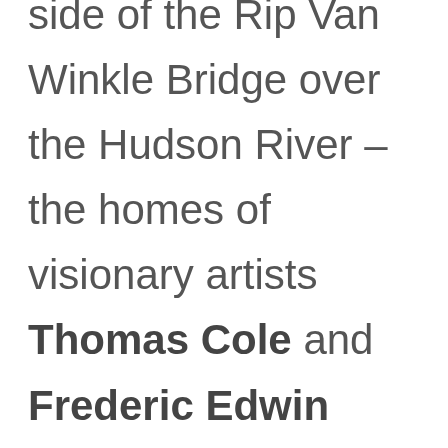side of the Rip Van Winkle Bridge over the Hudson River – the homes of visionary artists Thomas Cole and Frederic Edwin Church.